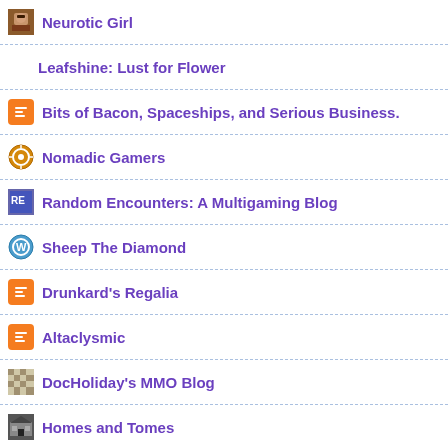Neurotic Girl
Leafshine: Lust for Flower
Bits of Bacon, Spaceships, and Serious Business.
Nomadic Gamers
Random Encounters: A Multigaming Blog
Sheep The Diamond
Drunkard's Regalia
Altaclysmic
DocHoliday's MMO Blog
Homes and Tomes
Games and Geekery
Troll Racials are Overpowered
Plenty of Paladins
Free SL!
Mister K played WOW